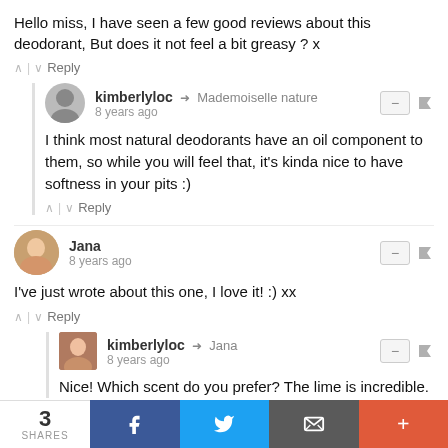Hello miss, I have seen a few good reviews about this deodorant, But does it not feel a bit greasy ? x
kimberlyloc → Mademoiselle nature
8 years ago
I think most natural deodorants have an oil component to them, so while you will feel that, it's kinda nice to have softness in your pits :)
Jana
8 years ago
I've just wrote about this one, I love it! :) xx
kimberlyloc → Jana
8 years ago
Nice! Which scent do you prefer? The lime is incredible.
3 SHARES  f  Twitter  Email  +